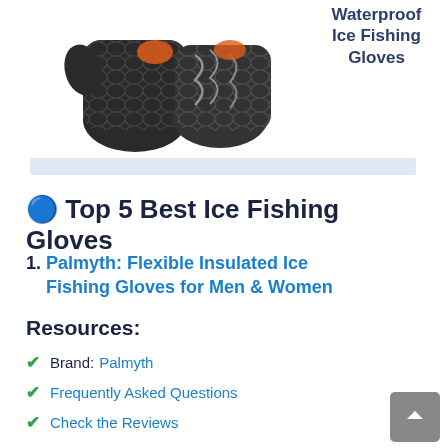[Figure (photo): Two dark patterned fingerless ice fishing gloves with orange accent and fish scale design on a white background]
Waterproof Ice Fishing Gloves
🔵 Top 5 Best Ice Fishing Gloves
1. Palmyth: Flexible Insulated Ice Fishing Gloves for Men & Women
Resources:
✓ Brand: Palmyth
✓ Frequently Asked Questions
✓ Check the Reviews